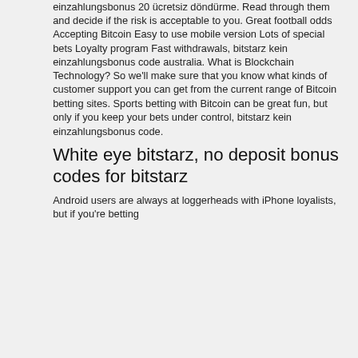einzahlungsbonus 20 ücretsiz döndürme. Read through them and decide if the risk is acceptable to you. Great football odds Accepting Bitcoin Easy to use mobile version Lots of special bets Loyalty program Fast withdrawals, bitstarz kein einzahlungsbonus code australia. What is Blockchain Technology? So we'll make sure that you know what kinds of customer support you can get from the current range of Bitcoin betting sites. Sports betting with Bitcoin can be great fun, but only if you keep your bets under control, bitstarz kein einzahlungsbonus code.
White eye bitstarz, no deposit bonus codes for bitstarz
Android users are always at loggerheads with iPhone loyalists, but if you're betting